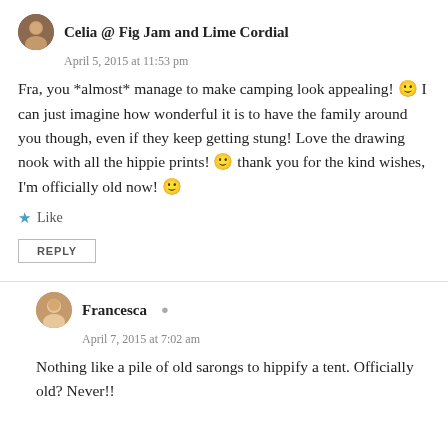Celia @ Fig Jam and Lime Cordial
April 5, 2015 at 11:53 pm
Fra, you *almost* manage to make camping look appealing! 🙂 I can just imagine how wonderful it is to have the family around you though, even if they keep getting stung! Love the drawing nook with all the hippie prints! 🙂 thank you for the kind wishes, I'm officially old now! 🙂
Like
REPLY
Francesca
April 7, 2015 at 7:02 am
Nothing like a pile of old sarongs to hippify a tent. Officially old? Never!!